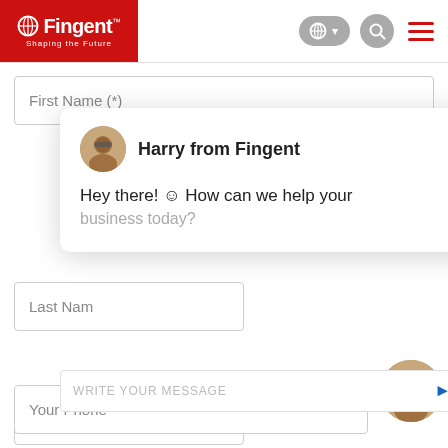[Figure (screenshot): Fingent website header with logo, language selector, search button, and hamburger menu]
First Name (*)
[Figure (screenshot): Chat popup overlay with Harry from Fingent avatar, message: Hey there! :) How can we help your business today? with close button]
Last Nam
WRITE YOUR MESSAGE
Your Bus
[Figure (photo): Bottom chat avatar of Harry from Fingent]
Your Phone